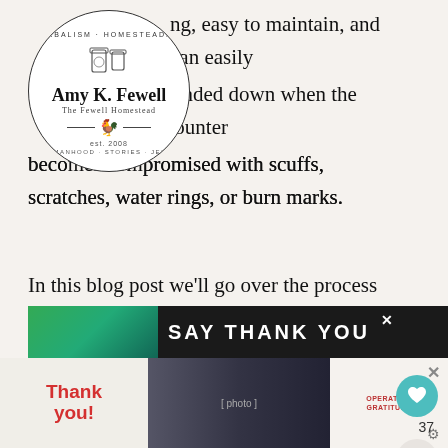[Figure (logo): Circular logo for Amy K. Fewell / The Fewell Homestead with text 'Herbalism · Homesteading' around the top arc and 'Womanhood · Stories · Jesus' around the bottom arc, est. 2008, with a hen illustration in the center]
…ng, easy to maintain, and can easily be sanded down when the counter becomes compromised with scuffs, scratches, water rings, or burn marks.
In this blog post we'll go over the process of curing the counter tops, and then we'll walk through the monthly maintenance of them. I'll show you some pros and cons of butcher block, and there's even a video at the end showing you our counter tops!
[Figure (infographic): Teal heart/save button with count 37 and a share button below it on the right side]
[Figure (photo): Advertisement banner showing 'SAY THANK YOU' text with firefighters photo and Operation Gratitude logo, with a thank you handwritten note on the bottom bar]